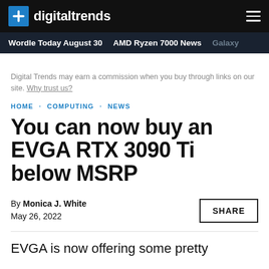digitaltrends
Wordle Today August 30 · AMD Ryzen 7000 News · Galaxy
Digital Trends may earn a commission when you buy through links on our site. Why trust us?
HOME · COMPUTING · NEWS
You can now buy an EVGA RTX 3090 Ti below MSRP
By Monica J. White
May 26, 2022
EVGA is now offering some pretty